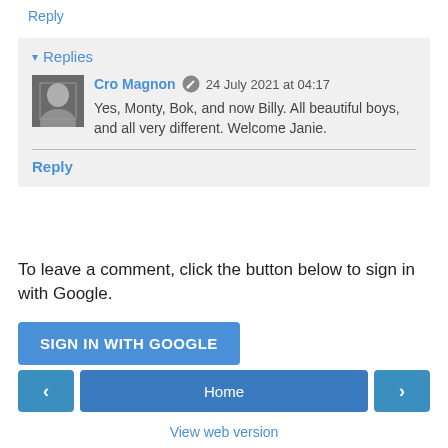Reply
▾ Replies
Cro Magnon ✏ 24 July 2021 at 04:17
Yes, Monty, Bok, and now Billy. All beautiful boys, and all very different. Welcome Janie.
Reply
To leave a comment, click the button below to sign in with Google.
SIGN IN WITH GOOGLE
Home
View web version